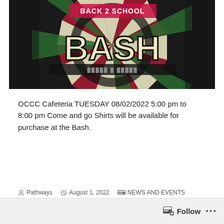[Figure (illustration): Back 2 School Bash promotional banner with bold 'BASH' text on a colorful sunburst background of red, green, and cream stripes with black brush strokes]
OCCC Cafeteria TUESDAY 08/02/2022 5:00 pm to 8:00 pm Come and go Shirts will be available for purchase at the Bash.
Pathways  August 1, 2022  NEWS AND EVENTS
Leave a comment